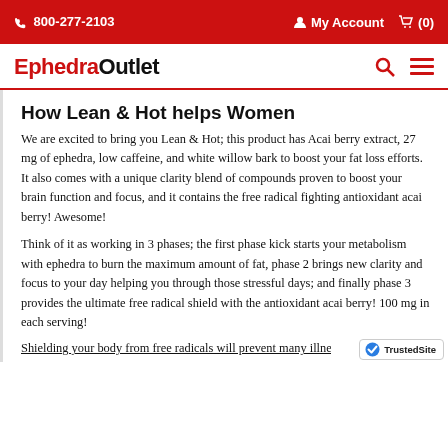800-277-2103   My Account   (0)
EphedraOutlet
How Lean & Hot helps Women
We are excited to bring you Lean & Hot; this product has Acai berry extract, 27 mg of ephedra, low caffeine, and white willow bark to boost your fat loss efforts. It also comes with a unique clarity blend of compounds proven to boost your brain function and focus, and it contains the free radical fighting antioxidant acai berry! Awesome!
Think of it as working in 3 phases; the first phase kick starts your metabolism with ephedra to burn the maximum amount of fat, phase 2 brings new clarity and focus to your day helping you through those stressful days; and finally phase 3 provides the ultimate free radical shield with the antioxidant acai berry! 100 mg in each serving!
Shielding your body from free radicals will prevent many illne